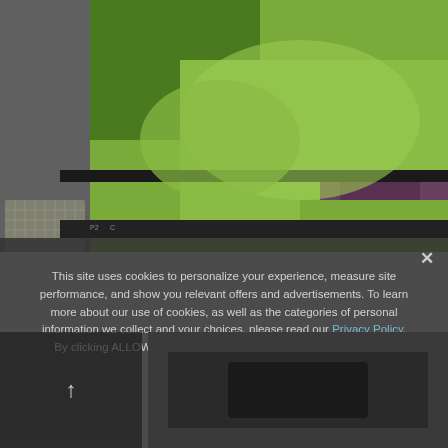[Figure (photo): Close-up photograph of a hydroponic growing system with trays of green leafy plants including spinach and microgreens, with a metal grid structure visible on the left side.]
This site uses cookies to personalize your experience, measure site performance, and show you relevant offers and advertisements. To learn more about our use of cookies, as well as the categories of personal information we collect and your choices, please read our Privacy Policy. By clicking ALLOW or clicking on any other content, you agree that cookies can be placed.
ALLOW